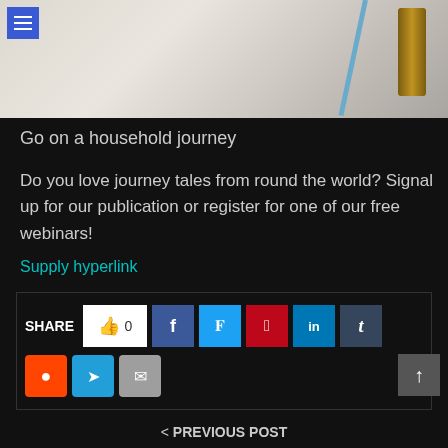[Figure (photo): Beach/sand scene with a diagonal blue stripe and a wooden post in the top right, hamburger menu icon in top left corner on blue background]
Go on a household journey
Do you love journey tales from round the world? Signal up for our publication or register for one of our free webinars!
Supply hyperlink
SHARE 0 [social share buttons: Facebook, Twitter, Pinterest, LinkedIn, Tumblr, Reddit, Telegram, Email]
< PREVIOUS POST